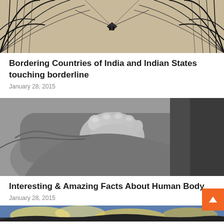[Figure (photo): Black and white abstract architectural photo showing curved lines and geometric patterns, possibly a bridge or clock structure with reflections]
Bordering Countries of India and Indian States touching borderline
January 28, 2015
[Figure (photo): Black and white close-up photo of an adult hand holding a baby's small feet/foot]
Interesting & Amazing Facts About Human Body
January 28, 2015
[Figure (photo): Partial photo visible at bottom of page showing a landscape with clouds]